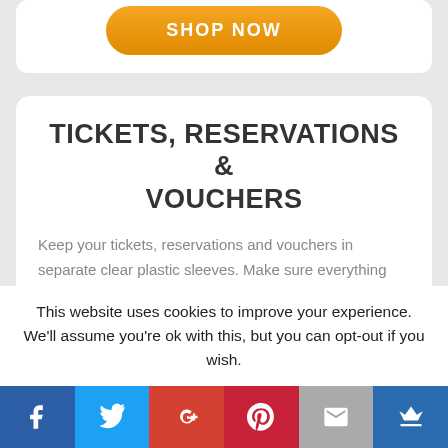[Figure (other): Orange rounded button labeled SHOP NOW]
TICKETS, RESERVATIONS & VOUCHERS
Keep your tickets, reservations and vouchers in separate clear plastic sleeves. Make sure everything you need is visible and where you can find it in your backpack. This way you will know you have everything you need and be ready to pull it out just when you need it.
Assign your map its own plastic sleeve so you can refer to
This website uses cookies to improve your experience. We'll assume you're ok with this, but you can opt-out if you wish.
[Figure (other): Social sharing bar with icons: Facebook, Twitter, Google+, Pinterest, Email, Crown]